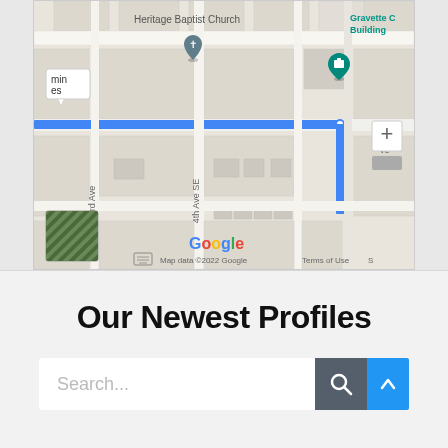[Figure (map): Google Maps screenshot showing a route (blue line) from a starting point to Gravette City Building. Map shows Heritage Baptist Church, 3rd Ave, 4th Ave SE, and other streets in Gravette area. Includes zoom controls, satellite thumbnail, Google logo, and map data attribution.]
Our Newest Profiles
[Figure (screenshot): Search bar with placeholder text 'Search...' and a dark search button with magnifying glass icon, plus a blue scroll-to-top arrow button]